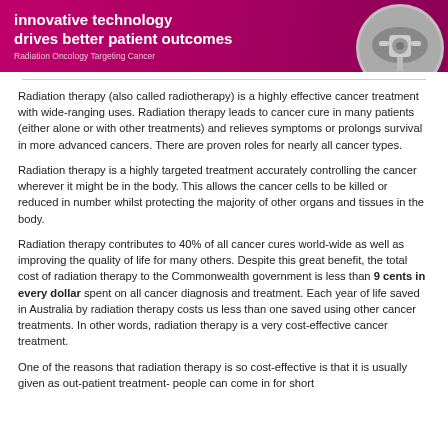[Figure (photo): Magenta/pink banner with bold white text reading 'innovative technology drives better patient outcomes' and subtitle 'Radiation Oncology Targeting Cancer', with a circular medical equipment photo on the right.]
Radiation therapy (also called radiotherapy) is a highly effective cancer treatment with wide-ranging uses. Radiation therapy leads to cancer cure in many patients (either alone or with other treatments) and relieves symptoms or prolongs survival in more advanced cancers. There are proven roles for nearly all cancer types.
Radiation therapy is a highly targeted treatment accurately controlling the cancer wherever it might be in the body. This allows the cancer cells to be killed or reduced in number whilst protecting the majority of other organs and tissues in the body.
Radiation therapy contributes to 40% of all cancer cures world-wide as well as improving the quality of life for many others. Despite this great benefit, the total cost of radiation therapy to the Commonwealth government is less than 9 cents in every dollar spent on all cancer diagnosis and treatment. Each year of life saved in Australia by radiation therapy costs us less than one saved using other cancer treatments. In other words, radiation therapy is a very cost-effective cancer treatment.
One of the reasons that radiation therapy is so cost-effective is that it is usually given as out-patient treatment- people can come in for short